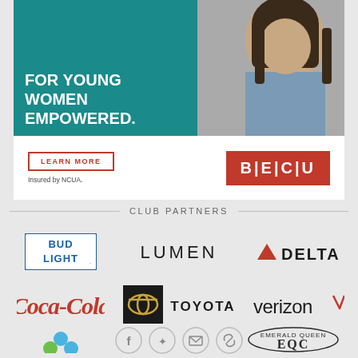[Figure (illustration): BECU advertisement banner: teal left panel with text 'FOR YOUNG WOMEN EMPOWERED.' and photo of woman on right, with LEARN MORE button and BECU logo below]
CLUB PARTNERS
[Figure (logo): Bud Light logo - blue box with BUD LIGHT text]
[Figure (logo): Lumen logo - LUMEN text in black]
[Figure (logo): Delta logo - red triangle with DELTA text]
[Figure (logo): Coca-Cola logo - red cursive script]
[Figure (logo): Toyota logo - black box with Toyota symbol and TOYOTA text]
[Figure (logo): Verizon logo - verizon with red checkmark]
[Figure (logo): Dots/circles logo in blue and green]
[Figure (logo): Emerald Queen Casino (EQC) circular logo]